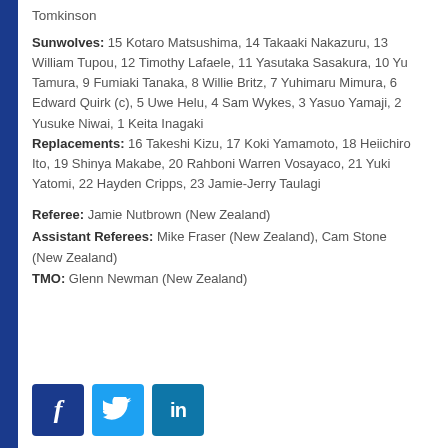Tomkinson
Sunwolves: 15 Kotaro Matsushima, 14 Takaaki Nakazuru, 13 William Tupou, 12 Timothy Lafaele, 11 Yasutaka Sasakura, 10 Yu Tamura, 9 Fumiaki Tanaka, 8 Willie Britz, 7 Yuhimaru Mimura, 6 Edward Quirk (c), 5 Uwe Helu, 4 Sam Wykes, 3 Yasuo Yamaji, 2 Yusuke Niwai, 1 Keita Inagaki
Replacements: 16 Takeshi Kizu, 17 Koki Yamamoto, 18 Heiichiro Ito, 19 Shinya Makabe, 20 Rahboni Warren Vosayaco, 21 Yuki Yatomi, 22 Hayden Cripps, 23 Jamie-Jerry Taulagi
Referee: Jamie Nutbrown (New Zealand)
Assistant Referees: Mike Fraser (New Zealand), Cam Stone (New Zealand)
TMO: Glenn Newman (New Zealand)
[Figure (other): Social media share buttons: Facebook, Twitter, LinkedIn]